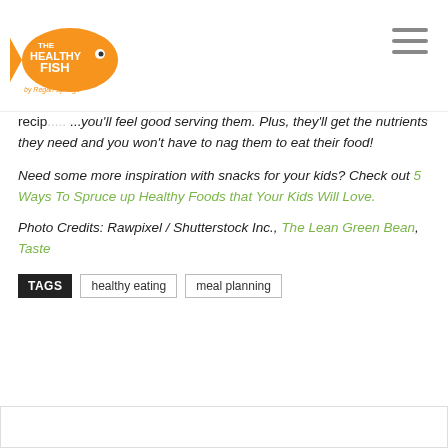The Healthy Fish by Regan Springs
recip... ...you'll feel good serving them. Plus, they'll get the nutrients they need and you won't have to nag them to eat their food!
Need some more inspiration with snacks for your kids? Check out 5 Ways To Spruce up Healthy Foods that Your Kids Will Love.
Photo Credits: Rawpixel / Shutterstock Inc., The Lean Green Bean, Taste
TAGS  healthy eating  meal planning